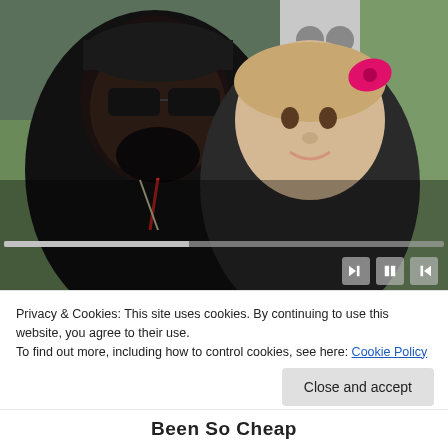[Figure (photo): A smiling man wearing a black cap and sunglasses posing with a young girl who has a pink bow in her hair. Both are smiling at the camera. A video player progress bar and controls are visible at the bottom of the image.]
Privacy & Cookies: This site uses cookies. By continuing to use this website, you agree to their use.
To find out more, including how to control cookies, see here: Cookie Policy
Close and accept
Been So Cheap